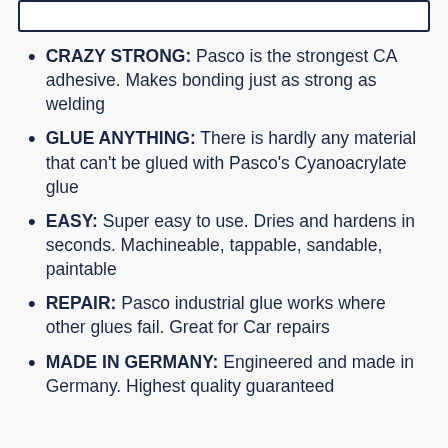CRAZY STRONG: Pasco is the strongest CA adhesive. Makes bonding just as strong as welding
GLUE ANYTHING: There is hardly any material that can't be glued with Pasco's Cyanoacrylate glue
EASY: Super easy to use. Dries and hardens in seconds. Machineable, tappable, sandable, paintable
REPAIR: Pasco industrial glue works where other glues fail. Great for Car repairs
MADE IN GERMANY: Engineered and made in Germany. Highest quality guaranteed